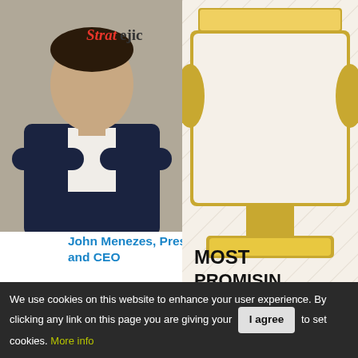[Figure (photo): Photo of John Menezes, a man in a dark suit with arms crossed, with a Stratejic logo visible in the background]
John Menezes, President, and CEO
Cyber and ransomware attacks are major threats to small, medium and large enterprises that is cause for concern among the C suite and IT
By implementing our cloud based solutions, enterprises no longer have to buy different modules
[Figure (illustration): Gold trophy award badge reading MOST PROMISING CANADA TECH COMPANY, awarded by CIO, with Stra... (Stratejic) branding]
We use cookies on this website to enhance your user experience. By clicking any link on this page you are giving your consent to set cookies. More info